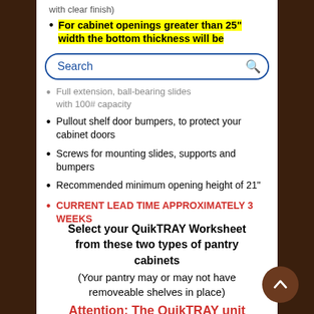For cabinet openings greater than 25" width the bottom thickness will be
[Figure (screenshot): Search bar with blue border and search icon]
Full extension, ball-bearing slides with 100# capacity
Pullout shelf door bumpers, to protect your cabinet doors
Screws for mounting slides, supports and bumpers
Recommended minimum opening height of 21"
CURRENT LEAD TIME APPROXIMATELY 3 WEEKS
Select your QuikTRAY Worksheet from these two types of pantry cabinets
(Your pantry may or may not have removeable shelves in place)
Attention: The QuikTRAY unit